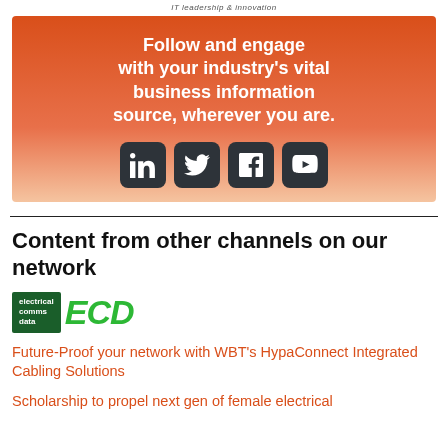IT leadership & innovation
[Figure (infographic): Orange gradient banner with text 'Follow and engage with your industry's vital business information source, wherever you are.' and four dark rounded social media icons: LinkedIn, Twitter, Facebook, YouTube]
Content from other channels on our network
[Figure (logo): Electrical Comms Data ECD logo — dark green box with white text and green italic ECD letters]
Future-Proof your network with WBT's HypaConnect Integrated Cabling Solutions
Scholarship to propel next gen of female electrical